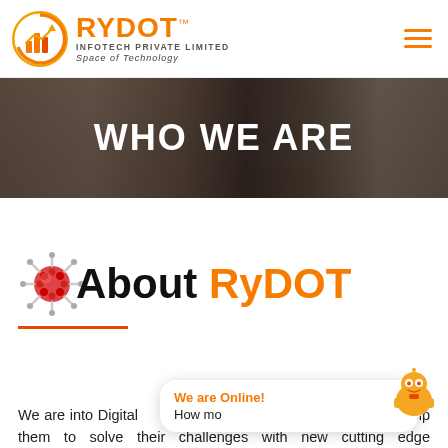[Figure (logo): Rydot Infotech Private Limited logo with orange circular icon and text. Tagline: Space of Technology]
[Figure (photo): Dark-overlaid banner photo of people in a business meeting around a conference table]
WHO WE ARE
About RyDOT
We are into Digital ... er ...grade clients and we help them to solve their challenges with new cutting edge technology. Which is cost effective